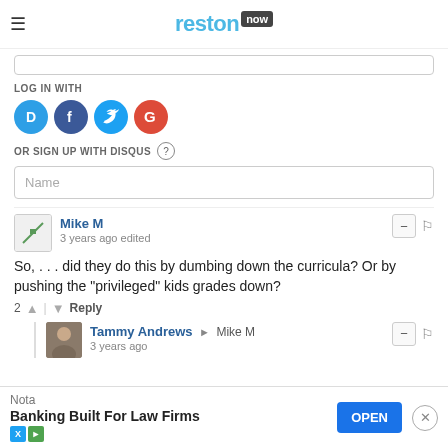reston now
LOG IN WITH
[Figure (infographic): Social login icons: Disqus (blue circle with D), Facebook (dark blue circle with f), Twitter (light blue circle with bird), Google (red circle with G)]
OR SIGN UP WITH DISQUS ?
Name
Mike M
3 years ago edited
So, . . . did they do this by dumbing down the curricula? Or by pushing the "privileged" kids grades down?
2 ↑ | ↓ Reply
Tammy Andrews → Mike M
3 years ago
[Figure (infographic): Advertisement banner: Nota - Banking Built For Law Firms - OPEN button]